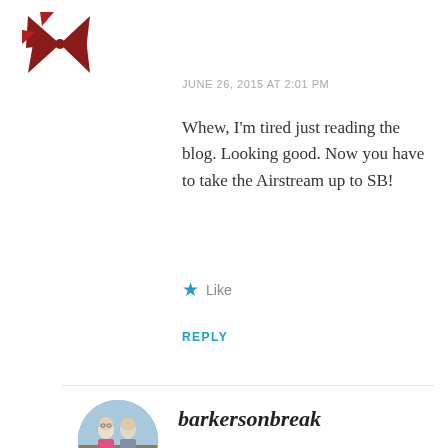[Figure (logo): Dark red pinwheel/star logo icon in top left corner]
JUNE 26, 2015 AT 2:01 PM
Whew, I'm tired just reading the blog. Looking good. Now you have to take the Airstream up to SB!
★ Like
REPLY
[Figure (photo): Circular profile photo of two people standing outdoors]
barkersonbreak
JULY 3, 2015 AT 9:23 PM
Can't wait! We didn't realize how close